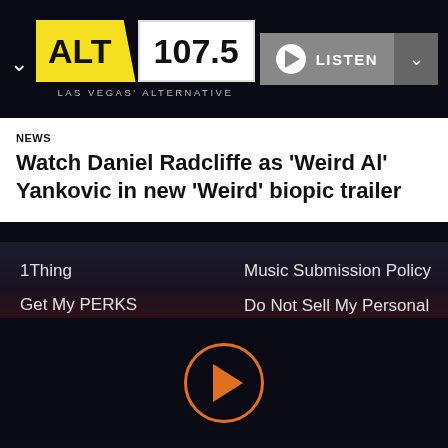[Figure (logo): ALT 107.5 Las Vegas' Alternative radio station logo with yellow ALT and white 107.5 text]
[Figure (screenshot): Listen button with play icon and dropdown chevron]
NEWS
Watch Daniel Radcliffe as 'Weird Al' Yankovic in new 'Weird' biopic trailer
1Thing
Get My PERKS
#ImListening
Contact Us
Submit a Station
Submit a Podcast
Sitemap
Music Submission Policy
Do Not Sell My Personal Information
Public Help File
[Figure (other): Orange outlined play button circle at bottom center]